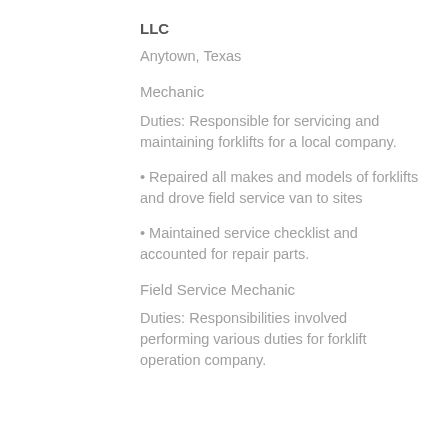LLC
Anytown, Texas
Mechanic
Duties: Responsible for servicing and maintaining forklifts for a local company.
• Repaired all makes and models of forklifts and drove field service van to sites
• Maintained service checklist and accounted for repair parts.
Field Service Mechanic
Duties: Responsibilities involved performing various duties for forklift operation company.